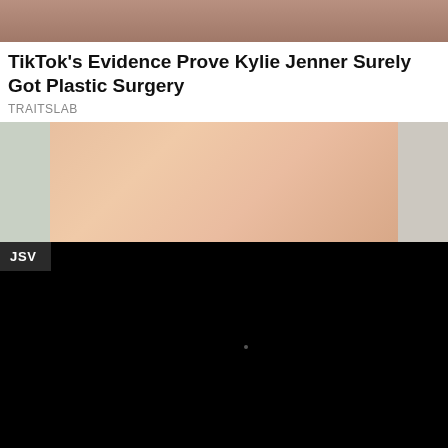[Figure (photo): Partial photo visible at top of page, cropped]
TikTok's Evidence Prove Kylie Jenner Surely Got Plastic Surgery
TRAITSLAB
[Figure (photo): Photo showing a person in light pink/nude underwear, cropped mid-body shot]
[Figure (photo): Black video panel with JSV badge label and a small dot in the center]
[Figure (photo): Partial photo at bottom showing outdoor greenery/foliage with light-colored elements]